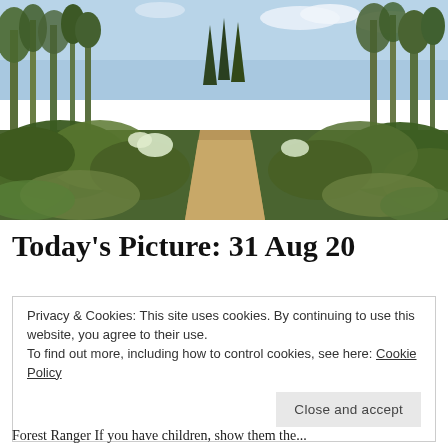[Figure (photo): A forest path winding through dense green woodland with ferns, shrubs, and tall trees under a partly cloudy sky.]
Today's Picture: 31 Aug 20
Privacy & Cookies: This site uses cookies. By continuing to use this website, you agree to their use.
To find out more, including how to control cookies, see here: Cookie Policy
[Close and accept]
Forest Ranger If you have children, show them the...